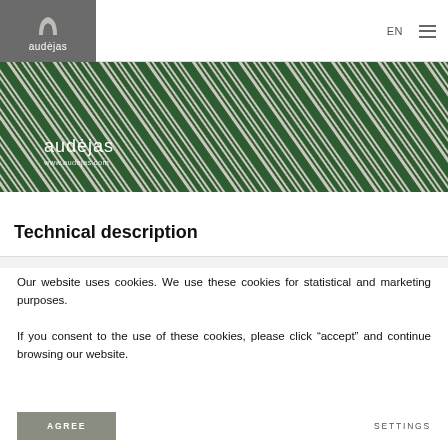EN  ≡
[Figure (logo): Audėjas logo: grey box with stylized 'a' icon and 'audėjas' text in white]
[Figure (photo): Banner photo of green-striped linen/textile fabric with diagonal stripes, with 'audėjas' and 'www.audejas.com' overlaid in white text]
Technical description
Our website uses cookies. We use these cookies for statistical and marketing purposes.
If you consent to the use of these cookies, please click "accept" and continue browsing our website.
AGREE
SETTINGS